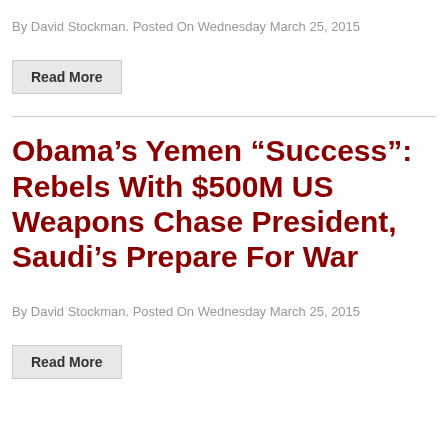By David Stockman. Posted On Wednesday March 25, 2015
Read More
Obama’s Yemen “Success”: Rebels With $500M US Weapons Chase President, Saudi’s Prepare For War
By David Stockman. Posted On Wednesday March 25, 2015
Read More